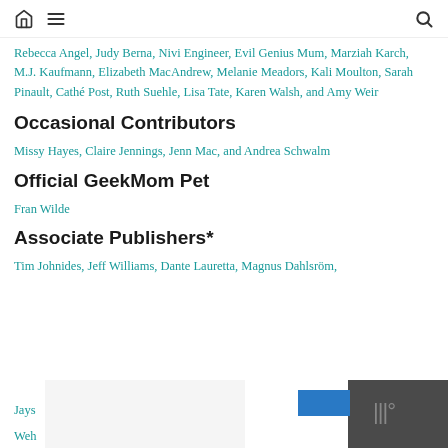Home | Menu | Search
Rebecca Angel, Judy Berna, Nivi Engineer, Evil Genius Mum, Marziah Karch, M.J. Kaufmann, Elizabeth MacAndrew, Melanie Meadors, Kali Moulton, Sarah Pinault, Cathé Post, Ruth Suehle, Lisa Tate, Karen Walsh, and Amy Weir
Occasional Contributors
Missy Hayes, Claire Jennings, Jenn Mac, and Andrea Schwalm
Official GeekMom Pet
Fran Wilde
Associate Publishers*
Tim Johnides, Jeff Williams, Dante Lauretta, Magnus Dahlsröm, Jays…, Weh…